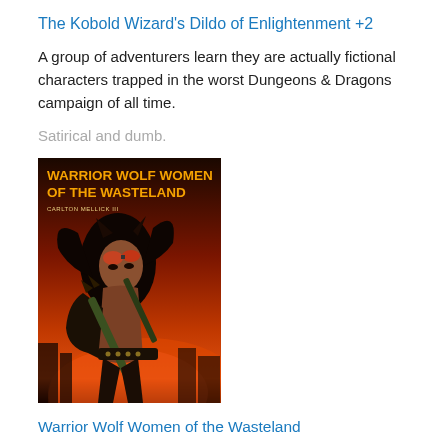The Kobold Wizard's Dildo of Enlightenment +2
A group of adventurers learn they are actually fictional characters trapped in the worst Dungeons & Dragons campaign of all time.
Satirical and dumb.
[Figure (illustration): Book cover for 'Warrior Wolf Women of the Wasteland' showing a wolf-woman warrior with goggles, dark hair, black armor glove, holding a weapon, against a dark orange/red apocalyptic background sky with ruins.]
Warrior Wolf Women of the Wasteland
A Wonderland Book Award-winning novel about a three-armed man who finds himself in the middle of a war between a gang of road warrior